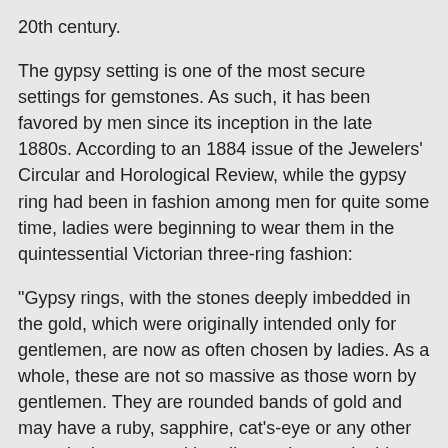20th century.
The gypsy setting is one of the most secure settings for gemstones. As such, it has been favored by men since its inception in the late 1880s. According to an 1884 issue of the Jewelers' Circular and Horological Review, while the gypsy ring had been in fashion among men for quite some time, ladies were beginning to wear them in the quintessential Victorian three-ring fashion:
"Gypsy rings, with the stones deeply imbedded in the gold, which were originally intended only for gentlemen, are now as often chosen by ladies. As a whole, these are not so massive as those worn by gentlemen. They are rounded bands of gold and may have a ruby, sapphire, cat's-eye or any other stone in the center with a diamond on each side. The stones are so buried in the gold that only the surface shows."{1}
At this same time a new trend was emerging, one so novel that it was called odd in the same issue of the Jewelers' Circular. "Rings of hammered platina* with a brilliant